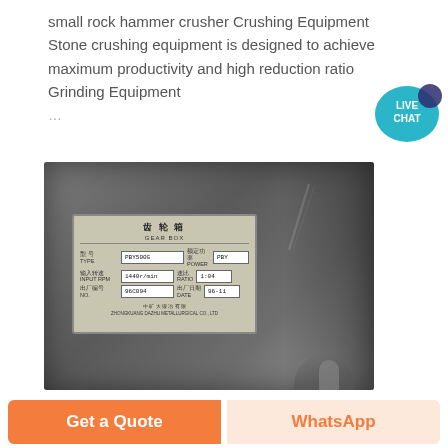small rock hammer crusher Crushing Equipment Stone crushing equipment is designed to achieve maximum productivity and high reduction ratio Grinding Equipment ...
[Figure (photo): Photo of a gear box (齿轮箱) nameplate mounted on grey industrial equipment. The metal plate shows Chinese and English text with model/specification fields.]
Get a Quote
WhatsApp